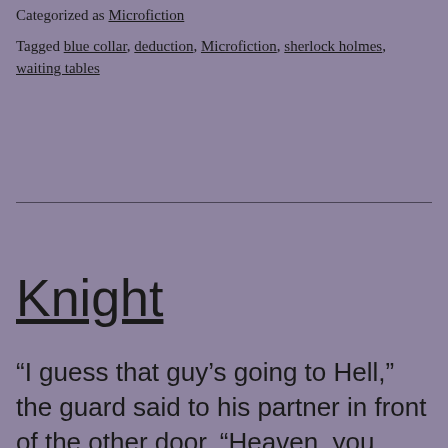Categorized as Microfiction
Tagged blue collar, deduction, Microfiction, sherlock holmes, waiting tables
Knight
“I guess that guy’s going to Hell,” the guard said to his partner in front of the other door. “Heaven, you mean.” The guard smiled. These